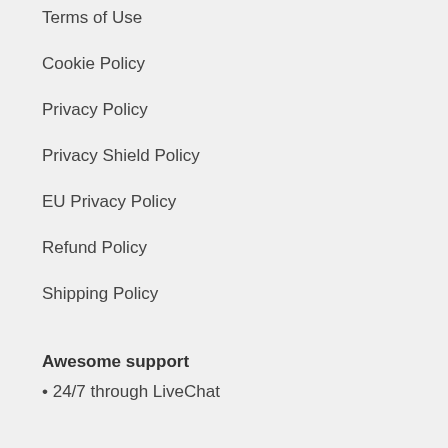Terms of Use
Cookie Policy
Privacy Policy
Privacy Shield Policy
EU Privacy Policy
Refund Policy
Shipping Policy
Awesome support
• 24/7 through LiveChat